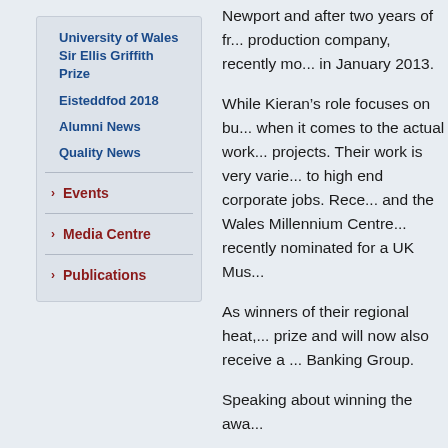University of Wales Sir Ellis Griffith Prize
Eisteddfod 2018
Alumni News
Quality News
Events
Media Centre
Publications
Newport and after two years of fr... production company, recently mo... in January 2013.
While Kieran's role focuses on bu... when it comes to the actual work... projects. Their work is very varie... to high end corporate jobs. Rece... and the Wales Millennium Centre... recently nominated for a UK Mus...
As winners of their regional heat,... prize and will now also receive a ... Banking Group.
Speaking about winning the awa...
“This award means everything to... someone recognise our achievem... gone through in the last two year... haven't stopped, it has helped us... And knowing that other people re...